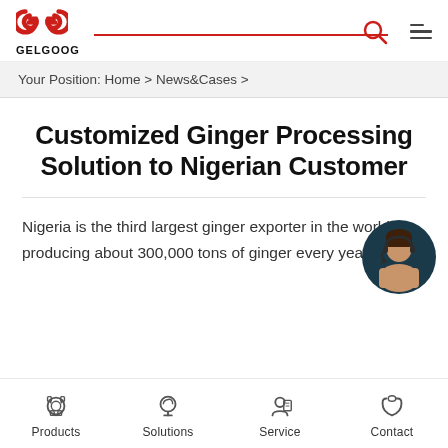[Figure (logo): GELGOOG company logo with stylized G letters in red and the word GELGOOG below in black]
Your Position: Home > News&Cases >
Customized Ginger Processing Solution to Nigerian Customer
Nigeria is the third largest ginger exporter in the world, producing about 300,000 tons of ginger every year. Ginger
Products | Solutions | Service | Contact